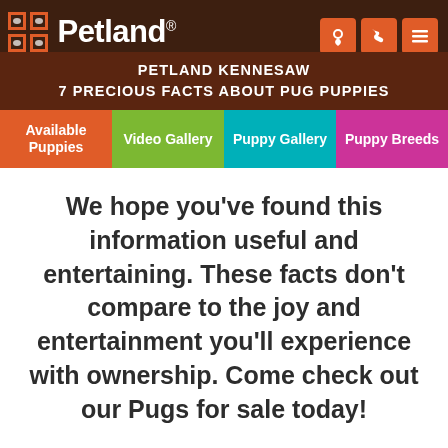Petland — PETLAND PETS MAKE LIFE BETTER!
PETLAND KENNESAW
7 PRECIOUS FACTS ABOUT PUG PUPPIES
Available Puppies | Video Gallery | Puppy Gallery | Puppy Breeds
We hope you've found this information useful and entertaining. These facts don't compare to the joy and entertainment you'll experience with ownership. Come check out our Pugs for sale today!